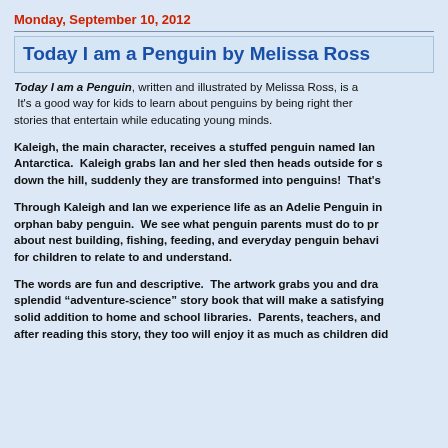Monday, September 10, 2012
Today I am a Penguin by Melissa Ross
Today I am a Penguin, written and illustrated by Melissa Ross, is a  It's a good way for kids to learn about penguins by being right ther stories that entertain while educating young minds.
Kaleigh, the main character, receives a stuffed penguin named Ian  Antarctica.  Kaleigh grabs Ian and her sled then heads outside for s down the hill, suddenly they are transformed into penguins!  That's
Through Kaleigh and Ian we experience life as an Adelie Penguin in orphan baby penguin.  We see what penguin parents must do to pr about nest building, fishing, feeding, and everyday penguin behavi for children to relate to and understand.
The words are fun and descriptive.  The artwork grabs you and dra splendid “adventure-science” story book that will make a satisfying solid addition to home and school libraries.  Parents, teachers, and after reading this story, they too will enjoy it as much as children did